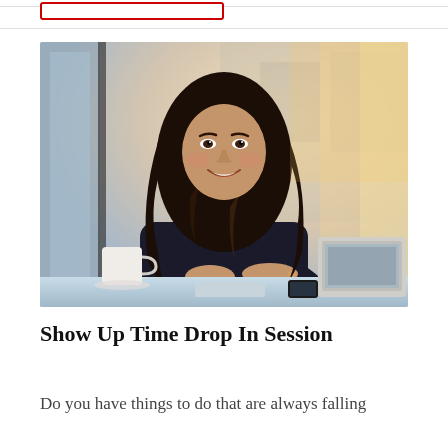[Figure (photo): Professional young woman with long dark wavy hair, smiling, seated at a desk with a laptop and coffee cup in a bright modern office/cafe setting]
Show Up Time Drop In Session
Do you have things to do that are always falling